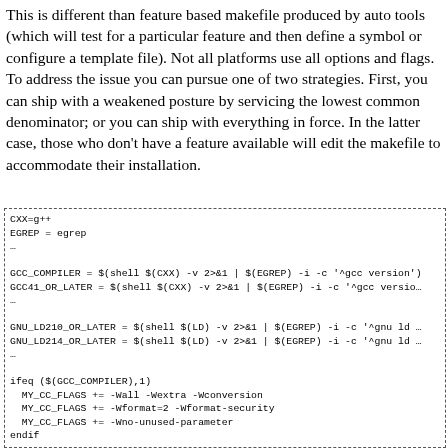This is different than feature based makefile produced by auto tools (which will test for a particular feature and then define a symbol or configure a template file). Not all platforms use all options and flags. To address the issue you can pursue one of two strategies. First, you can ship with a weakened posture by servicing the lowest common denominator; or you can ship with everything in force. In the latter case, those who don't have a feature available will edit the makefile to accommodate their installation.
[Figure (other): Code block showing makefile snippet with CXX, EGREP, GCC_COMPILER, GCC41_OR_LATER, GNU_LD210_OR_LATER, GNU_LD214_OR_LATER variable definitions, and conditional ifeq blocks setting MY_CC_FLAGS]